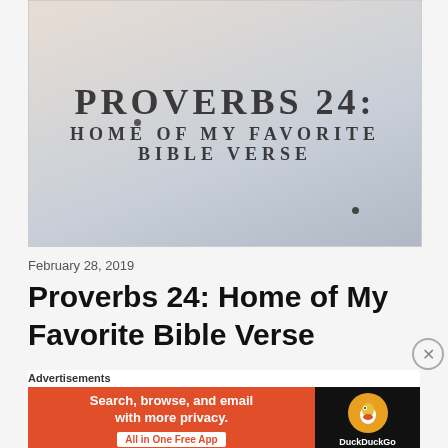[Figure (photo): Hero image with text overlay on a light grunge/watercolor background reading 'PROVERBS 24: HOME OF MY FAVORITE BIBLE VERSE' in condensed serif uppercase letters]
February 28, 2019
Proverbs 24: Home of My Favorite Bible Verse
Advertisements
[Figure (screenshot): DuckDuckGo advertisement banner: 'Search, browse, and email with more privacy. All in One Free App' on orange background, with DuckDuckGo duck logo on dark background]